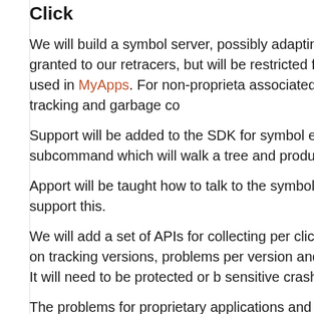Click
We will build a symbol server, possibly adapting Fedora's Dark server will be granted to our retracers, but will be restricted fo Ubuntu One SSO API as it is used in MyApps. For non-proprieta associated with an application for ACL tracking and garbage co
Support will be added to the SDK for symbol extraction and su strip' subcommand which will walk a tree and produce a set of into QtCreator.
Apport will be taught how to talk to the symbol server for retra configuration to support this.
We will add a set of APIs for collecting per click-version proble largely focusing on tracking versions, problems per version and data and problem information. It will need to be protected or b sensitive crash data.
The problems for proprietary applications and their rank will be
Calculating daily error rates
The daily error rate, for an individual machine with Ubuntu i